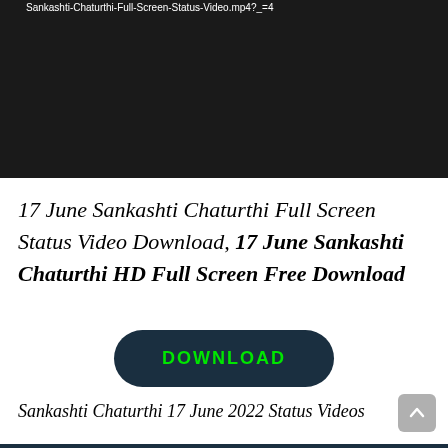[Figure (screenshot): Black video player area with URL text at top]
17 June Sankashti Chaturthi Full Screen Status Video Download, 17 June Sankashti Chaturthi HD Full Screen Free Download
[Figure (other): Dark navy rounded rectangle DOWNLOAD button with green text]
Sankashti Chaturthi 17 June 2022 Status Videos